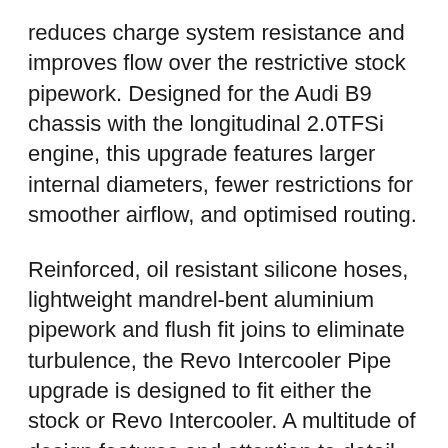reduces charge system resistance and improves flow over the restrictive stock pipework. Designed for the Audi B9 chassis with the longitudinal 2.0TFSi engine, this upgrade features larger internal diameters, fewer restrictions for smoother airflow, and optimised routing.
Reinforced, oil resistant silicone hoses, lightweight mandrel-bent aluminium pipework and flush fit joins to eliminate turbulence, the Revo Intercooler Pipe upgrade is designed to fit either the stock or Revo Intercooler. A multitude of design features and attention to detail that only Revo offer means this a product that performs.